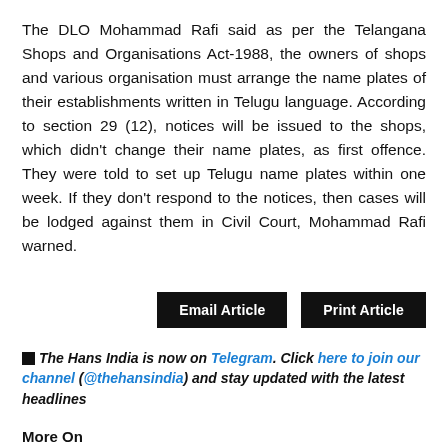The DLO Mohammad Rafi said as per the Telangana Shops and Organisations Act-1988, the owners of shops and various organisation must arrange the name plates of their establishments written in Telugu language. According to section 29 (12), notices will be issued to the shops, which didn't change their name plates, as first offence. They were told to set up Telugu name plates within one week. If they don't respond to the notices, then cases will be lodged against them in Civil Court, Mohammad Rafi warned.
Email Article | Print Article
■ The Hans India is now on Telegram. Click here to join our channel (@thehansindia) and stay updated with the latest headlines
More On